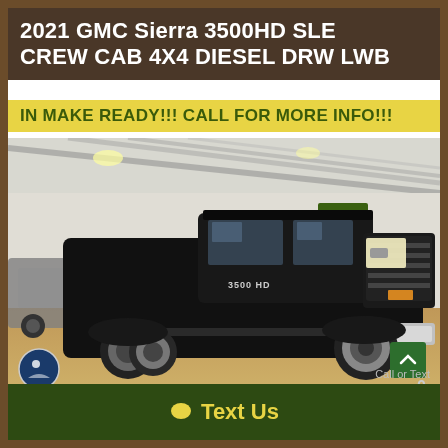2021 GMC Sierra 3500HD SLE CREW CAB 4X4 DIESEL DRW LWB
IN MAKE READY!!! CALL FOR MORE INFO!!!
[Figure (photo): 2021 GMC Sierra 3500HD black dually truck parked inside a dealership or warehouse with metal roof structure visible. The truck is facing right, showing the front grille and dual rear wheels. Another truck is partially visible on the left. A green logo banner is visible in the background.]
Call or Text
Text Us
0